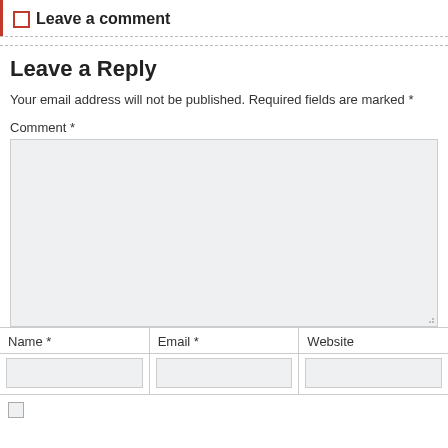Leave a comment
Leave a Reply
Your email address will not be published. Required fields are marked *
Comment *
Name *
Email *
Website